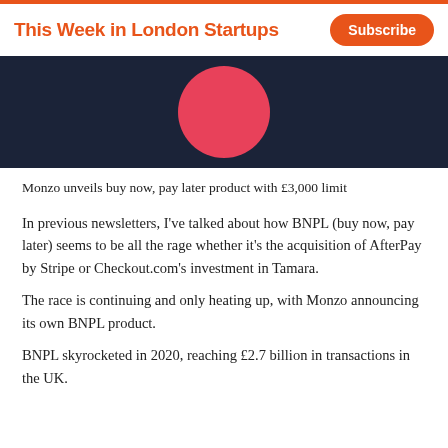This Week in London Startups
[Figure (illustration): Dark navy background with a pink/red circle at top center, partial view of a decorative hero image]
Monzo unveils buy now, pay later product with £3,000 limit
In previous newsletters, I've talked about how BNPL (buy now, pay later) seems to be all the rage whether it's the acquisition of AfterPay by Stripe or Checkout.com's investment in Tamara.
The race is continuing and only heating up, with Monzo announcing its own BNPL product.
BNPL skyrocketed in 2020, reaching £2.7 billion in transactions in the UK.